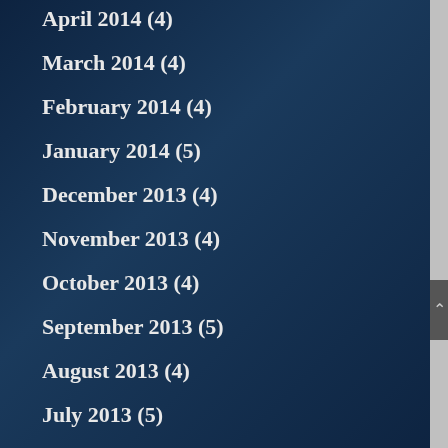April 2014 (4)
March 2014 (4)
February 2014 (4)
January 2014 (5)
December 2013 (4)
November 2013 (4)
October 2013 (4)
September 2013 (5)
August 2013 (4)
July 2013 (5)